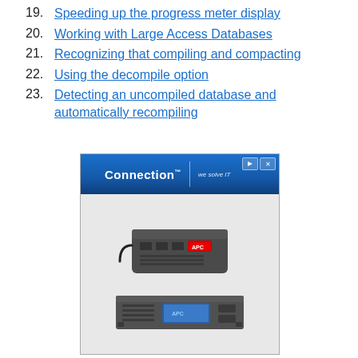19. Speeding up the progress meter display
20. Working with Large Access Databases
21. Recognizing that compiling and compacting
22. Using the decompile option
23. Detecting an uncompiled database and automatically recompiling
[Figure (photo): Advertisement banner for 'Connection - we solve IT' showing APC UPS battery backup units (a desktop tower UPS and a rack-mount UPS), with navigation controls in the top right corner.]